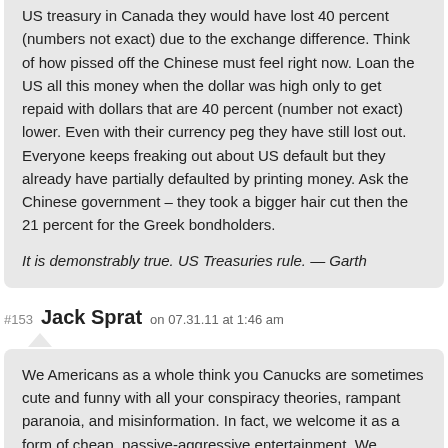US treasury in Canada they would have lost 40 percent (numbers not exact) due to the exchange difference. Think of how pissed off the Chinese must feel right now. Loan the US all this money when the dollar was high only to get repaid with dollars that are 40 percent (number not exact) lower. Even with their currency peg they have still lost out. Everyone keeps freaking out about US default but they already have partially defaulted by printing money. Ask the Chinese government – they took a bigger hair cut then the 21 percent for the Greek bondholders.

It is demonstrably true. US Treasuries rule. — Garth
#153 Jack Sprat on 07.31.11 at 1:46 am
We Americans as a whole think you Canucks are sometimes cute and funny with all your conspiracy theories, rampant paranoia, and misinformation. In fact, we welcome it as a form of cheap, passive-aggressive entertainment. We recognize the massive inferiority complex many Canadians have on nearly every level imaginable; hence the constant obsessiveness you posses for our country as you look South across your boarder at a land for which everyone in the world looking to immigrate chooses to move. Statistics prove it. It is absolutely incredible